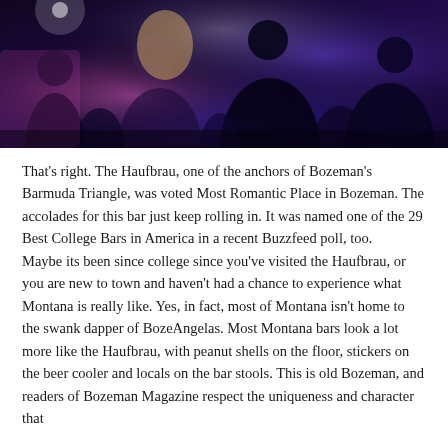[Figure (photo): People dancing in a dark bar/club setting with purple and pink stage lighting, crowd visible in background]
That's right. The Haufbrau, one of the anchors of Bozeman's Barmuda Triangle, was voted Most Romantic Place in Bozeman. The accolades for this bar just keep rolling in. It was named one of the 29 Best College Bars in America in a recent Buzzfeed poll, too. Maybe its been since college since you've visited the Haufbrau, or you are new to town and haven't had a chance to experience what Montana is really like. Yes, in fact, most of Montana isn't home to the swank dapper of BozeAngelas. Most Montana bars look a lot more like the Haufbrau, with peanut shells on the floor, stickers on the beer cooler and locals on the bar stools. This is old Bozeman, and readers of Bozeman Magazine respect the uniqueness and character that